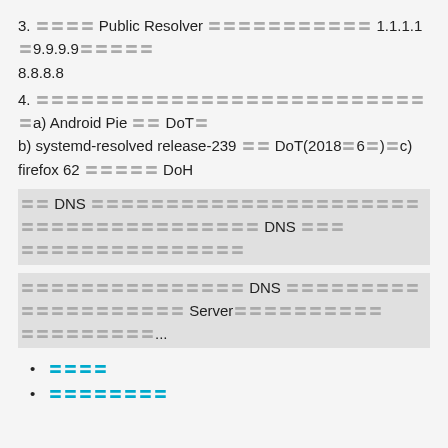3. 〓〓〓〓 Public Resolver 〓〓〓〓〓〓〓〓〓〓〓 1.1.1.1〓9.9.9.9〓〓〓〓〓 8.8.8.8
4. 〓〓〓〓〓〓〓〓〓〓〓〓〓〓〓〓〓〓〓〓〓〓〓〓〓〓〓a) Android Pie 〓〓 DoT〓 b) systemd-resolved release-239 〓〓 DoT(2018〓6〓)〓c) firefox 62 〓〓〓〓〓 DoH
〓〓 DNS 〓〓〓〓〓〓〓〓〓〓〓〓〓〓〓〓〓〓〓〓〓〓〓〓〓〓〓〓〓〓〓〓〓〓〓〓〓〓 DNS 〓〓〓 〓〓〓〓〓〓〓〓〓〓〓〓〓〓〓
〓〓〓〓〓〓〓〓〓〓〓〓〓〓〓 DNS 〓〓〓〓〓〓〓〓〓〓〓〓〓〓〓〓〓〓〓〓 Server〓〓〓〓〓〓〓〓〓〓 〓〓〓〓〓〓〓〓〓...
〓〓〓〓
〓〓〓〓〓〓〓〓
〓〓〓〓〓〓〓
qyb 〓 〓〓, 2018-08-24 13:22 〓〓
〓〓〓〓 Drupal 7.x 〓〓〓〓〓〓〓〓〓〓〓〓〓〓〓〓〓〓〓〓〓〓〓〓〓〓〓〓〓〓〓〓〓 DNS 〓〓〓〓〓 〓〓〓〓〓〓